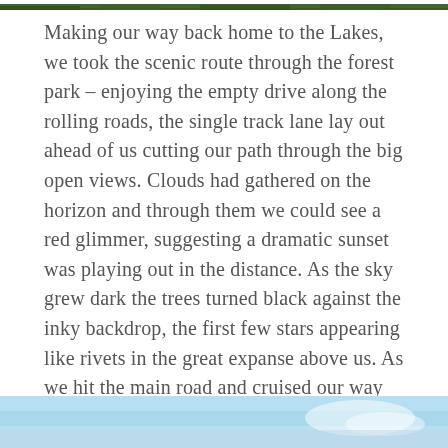[Figure (photo): Top strip of a nature/forest photograph, showing dark green foliage]
Making our way back home to the Lakes, we took the scenic route through the forest park – enjoying the empty drive along the rolling roads, the single track lane lay out ahead of us cutting our path through the big open views. Clouds had gathered on the horizon and through them we could see a red glimmer, suggesting a dramatic sunset was playing out in the distance. As the sky grew dark the trees turned black against the inky backdrop, the first few stars appearing like rivets in the great expanse above us. As we hit the main road and cruised our way south the first few quickly turned into a mass of twinkling stars, making it very apparent why Galloway is a dark park!
[Figure (photo): Bottom strip of a photograph showing a light blue sky with a small cloud]